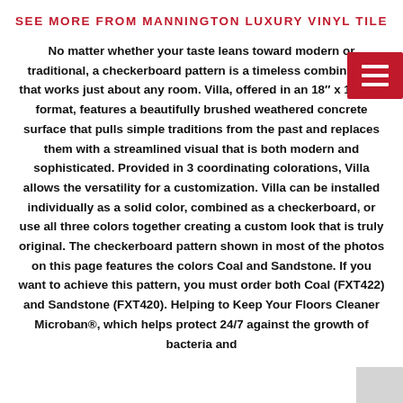SEE MORE FROM MANNINGTON LUXURY VINYL TILE
No matter whether your taste leans toward modern or traditional, a checkerboard pattern is a timeless combination that works just about any room. Villa, offered in an 18" x 18" tile format, features a beautifully brushed weathered concrete surface that pulls simple traditions from the past and replaces them with a streamlined visual that is both modern and sophisticated. Provided in 3 coordinating colorations, Villa allows the versatility for a customization. Villa can be installed individually as a solid color, combined as a checkerboard, or use all three colors together creating a custom look that is truly original. The checkerboard pattern shown in most of the photos on this page features the colors Coal and Sandstone. If you want to achieve this pattern, you must order both Coal (FXT422) and Sandstone (FXT420). Helping to Keep Your Floors Cleaner Microban®, which helps protect 24/7 against the growth of bacteria and